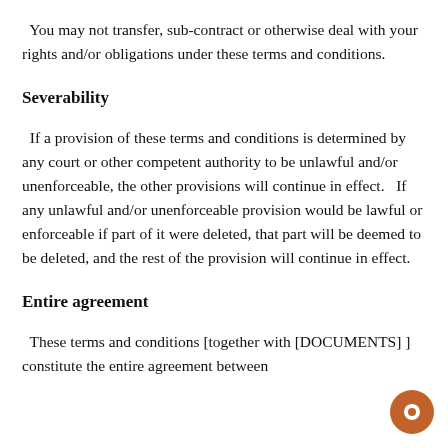You may not transfer, sub-contract or otherwise deal with your rights and/or obligations under these terms and conditions.
Severability
If a provision of these terms and conditions is determined by any court or other competent authority to be unlawful and/or unenforceable, the other provisions will continue in effect.  If any unlawful and/or unenforceable provision would be lawful or enforceable if part of it were deleted, that part will be deemed to be deleted, and the rest of the provision will continue in effect.
Entire agreement
These terms and conditions [together with [DOCUMENTS] ] constitute the entire agreement between